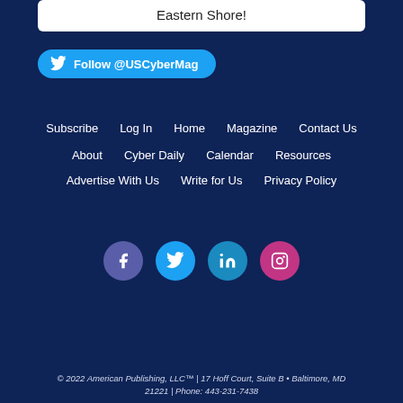Eastern Shore!
Follow @USCyberMag
Subscribe
Log In
Home
Magazine
Contact Us
About
Cyber Daily
Calendar
Resources
Advertise With Us
Write for Us
Privacy Policy
[Figure (infographic): Social media icons: Facebook, Twitter, LinkedIn, Instagram]
© 2022 American Publishing, LLC™ | 17 Hoff Court, Suite B • Baltimore, MD 21221 | Phone: 443-231-7438